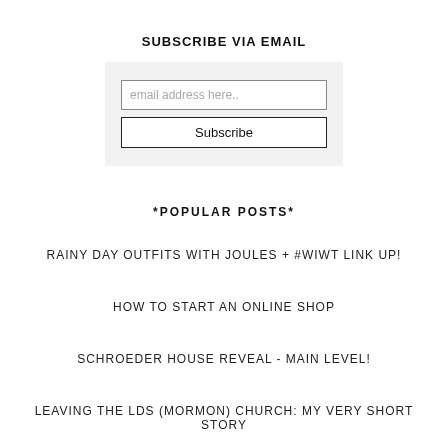SUBSCRIBE VIA EMAIL
[Figure (other): Email subscription form with an email address input field and a Subscribe button on a light grey background]
*POPULAR POSTS*
RAINY DAY OUTFITS WITH JOULES + #WIWT LINK UP!
HOW TO START AN ONLINE SHOP
SCHROEDER HOUSE REVEAL - MAIN LEVEL!
LEAVING THE LDS (MORMON) CHURCH: MY VERY SHORT STORY